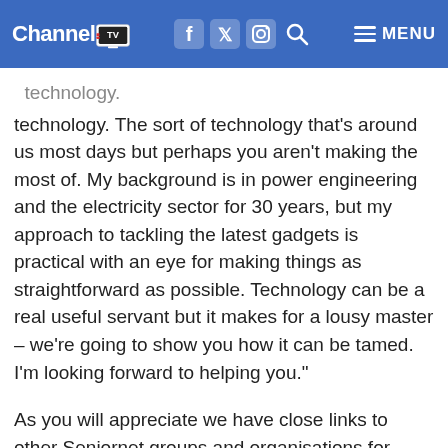Channel TV [logo] [social icons] MENU
technology. The sort of technology that's around us most days but perhaps you aren't making the most of. My background is in power engineering and the electricity sector for 30 years, but my approach to tackling the latest gadgets is practical with an eye for making things as straightforward as possible. Technology can be a real useful servant but it makes for a lousy master – we're going to show you how it can be tamed. I'm looking forward to helping you."
As you will appreciate we have close links to other Seniornet groups and organisations for seniors who offer a range of different courses such as genealogy, even those who can help you write your own life story for future generations to appreciate.